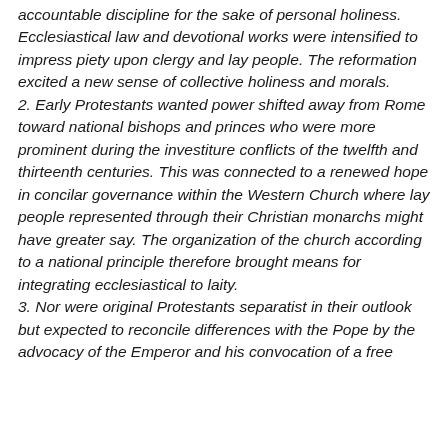accountable discipline for the sake of personal holiness. Ecclesiastical law and devotional works were intensified to impress piety upon clergy and lay people. The reformation excited a new sense of collective holiness and morals. 2. Early Protestants wanted power shifted away from Rome toward national bishops and princes who were more prominent during the investiture conflicts of the twelfth and thirteenth centuries. This was connected to a renewed hope in concilar governance within the Western Church where lay people represented through their Christian monarchs might have greater say. The organization of the church according to a national principle therefore brought means for integrating ecclesiastical to laity. 3. Nor were original Protestants separatist in their outlook but expected to reconcile differences with the Pope by the advocacy of the Emperor and his convocation of a free